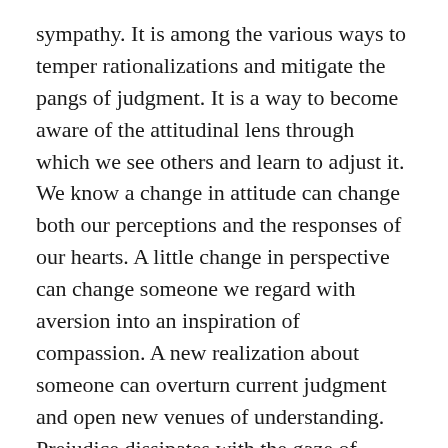sympathy. It is among the various ways to temper rationalizations and mitigate the pangs of judgment. It is a way to become aware of the attitudinal lens through which we see others and learn to adjust it. We know a change in attitude can change both our perceptions and the responses of our hearts. A little change in perspective can change someone we regard with aversion into an inspiration of compassion. A new realization about someone can overturn current judgment and open new venues of understanding. Prejudice dissipates with the gaze of understanding, superficial images of people transform with the evidence of unsuspected depths.
Comfort with similarity and discomfort with difference is a clear predisposition of human